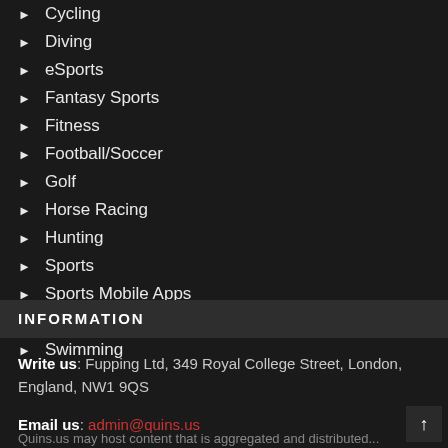Cycling
Diving
eSports
Fantasy Sports
Fitness
Football/Soccer
Golf
Horse Racing
Hunting
Sports
Sports Mobile Apps
Sports News
Swimming
INFORMATION
Write us: Fupping Ltd, 349 Royal College Street, London, England, NW1 9QS
Email us: admin@quins.us
Quins.us may host content that is aggregated and distributed...